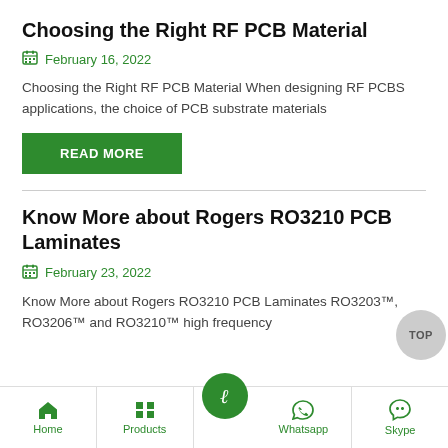Choosing the Right RF PCB Material
February 16, 2022
Choosing the Right RF PCB Material When designing RF PCBS applications, the choice of PCB substrate materials
READ MORE
Know More about Rogers RO3210 PCB Laminates
February 23, 2022
Know More about Rogers RO3210 PCB Laminates RO3203™, RO3206™ and RO3210™ high frequency
Home  Products  Whatsapp  Skype